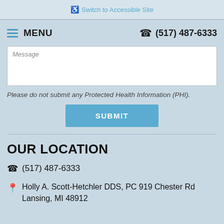Switch to Accessible Site
MENU  (517) 487-6333
Message
Please do not submit any Protected Health Information (PHI).
SUBMIT
OUR LOCATION
(517) 487-6333
Holly A. Scott-Hetchler DDS, PC 919 Chester Rd Lansing, MI 48912